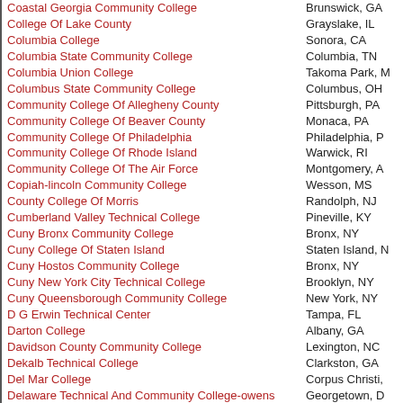Coastal Georgia Community College | Brunswick, GA
College Of Lake County | Grayslake, IL
Columbia College | Sonora, CA
Columbia State Community College | Columbia, TN
Columbia Union College | Takoma Park, M
Columbus State Community College | Columbus, OH
Community College Of Allegheny County | Pittsburgh, PA
Community College Of Beaver County | Monaca, PA
Community College Of Philadelphia | Philadelphia, P
Community College Of Rhode Island | Warwick, RI
Community College Of The Air Force | Montgomery, A
Copiah-lincoln Community College | Wesson, MS
County College Of Morris | Randolph, NJ
Cumberland Valley Technical College | Pineville, KY
Cuny Bronx Community College | Bronx, NY
Cuny College Of Staten Island | Staten Island, N
Cuny Hostos Community College | Bronx, NY
Cuny New York City Technical College | Brooklyn, NY
Cuny Queensborough Community College | New York, NY
D G Erwin Technical Center | Tampa, FL
Darton College | Albany, GA
Davidson County Community College | Lexington, NC
Dekalb Technical College | Clarkston, GA
Del Mar College | Corpus Christi,
Delaware Technical And Community College-owens | Georgetown, D
Delgado Community College | New Orleans, L
Des Moines Community College | Ankeny, IA
Dixie State College Of Utah | St George, UT